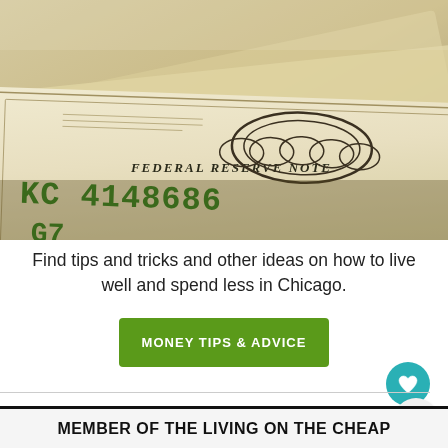[Figure (photo): Close-up photo of US dollar bills (Federal Reserve Notes) fanned out, showing serial number KC 41486G... and 'FEDERAL RESERVE NOTE' text in green ink, sepia-toned photograph]
Find tips and tricks and other ideas on how to live well and spend less in Chicago.
MONEY TIPS & ADVICE
MEMBER OF THE LIVING ON THE CHEAP